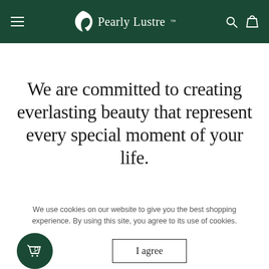Pearly Lustre
We are committed to creating everlasting beauty that represent every special moment of your life.
We use cookies on our website to give you the best shopping experience. By using this site, you agree to its use of cookies.